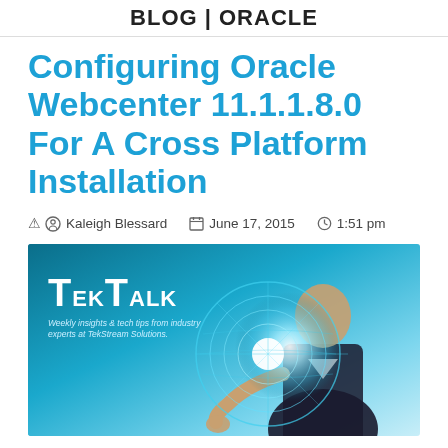BLOG | ORACLE
Configuring Oracle Webcenter 11.1.1.8.0 For A Cross Platform Installation
Kaleigh Blessard   June 17, 2015   1:51 pm
[Figure (illustration): TekTalk blog banner image showing a person in a suit holding a glowing circular holographic interface with tech/circuit elements. Text reads 'TekTalk - Weekly insights & tech tips from industry experts at TekStream Solutions.']